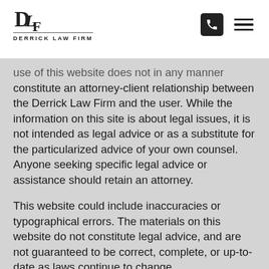[Figure (logo): Derrick Law Firm logo with stylized DLF monogram in serif font above the text 'DERRICK LAW FIRM']
[Figure (other): Navigation icons: black rounded square with white phone/handset icon, and a hamburger menu icon (three horizontal lines)]
use of this website does not in any manner constitute an attorney-client relationship between the Derrick Law Firm and the user. While the information on this site is about legal issues, it is not intended as legal advice or as a substitute for the particularized advice of your own counsel. Anyone seeking specific legal advice or assistance should retain an attorney.
This website could include inaccuracies or typographical errors. The materials on this website do not constitute legal advice, and are not guaranteed to be correct, complete, or up-to-date as laws continue to change.